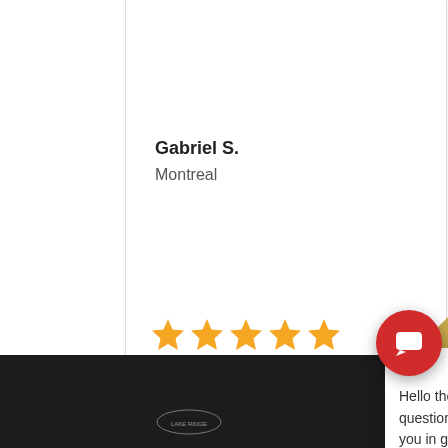whatever you ask for. Thank you Nate!
Gabriel S.
Montreal
[Figure (other): Five gold star rating]
[Figure (screenshot): Chat popup with logo, close button, and text: Hello there, answer the following questions so we can better assist you in getting a quote for a new lease. If you need assistance on anything else call (833) 476-4737]
WE KNO
And we put all o
[Figure (other): Red circular chat button with speech bubble icon]